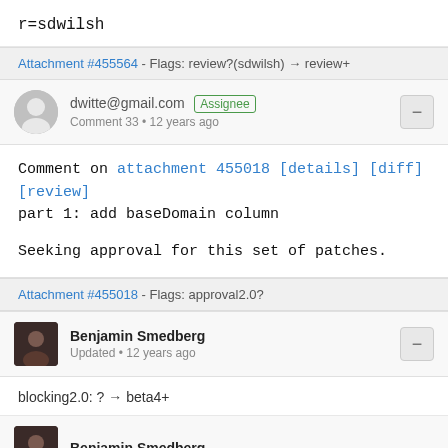r=sdwilsh
Attachment #455564 - Flags: review?(sdwilsh) → review+
dwitte@gmail.com [Assignee]
Comment 33 • 12 years ago
Comment on attachment 455018 [details] [diff] [review]
part 1: add baseDomain column

Seeking approval for this set of patches.
Attachment #455018 - Flags: approval2.0?
Benjamin Smedberg
Updated • 12 years ago
blocking2.0: ? → beta4+
Benjamin Smedberg